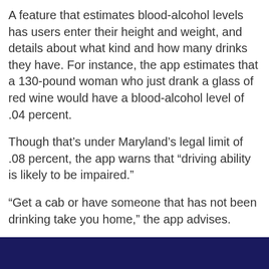A feature that estimates blood-alcohol levels has users enter their height and weight, and details about what kind and how many drinks they have. For instance, the app estimates that a 130-pound woman who just drank a glass of red wine would have a blood-alcohol level of .04 percent.
Though that’s under Maryland’s legal limit of .08 percent, the app warns that “driving ability is likely to be impaired.”
“Get a cab or have someone that has not been drinking take you home,” the app advises.
At nearly every step, the app warns users that